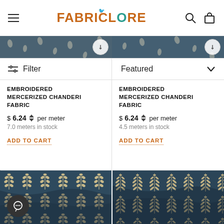FABRICLORE
Filter
Featured
EMBROIDERED MERCERIZED CHANDERI FABRIC
$6.24 per meter
7.0 meters in stock
ADD TO CART
EMBROIDERED MERCERIZED CHANDERI FABRIC
$6.24 per meter
4.5 meters in stock
ADD TO CART
[Figure (photo): Dark navy blue fabric with small cream leaf/botanical print pattern]
[Figure (photo): Dark navy blue fabric with cream fern/leaf print pattern]